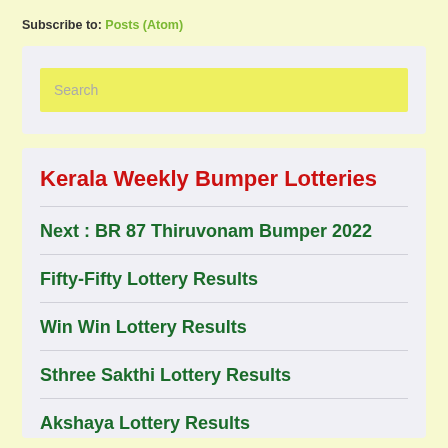Subscribe to: Posts (Atom)
Search
Kerala Weekly Bumper Lotteries
Next : BR 87 Thiruvonam Bumper 2022
Fifty-Fifty Lottery Results
Win Win Lottery Results
Sthree Sakthi Lottery Results
Akshaya Lottery Results